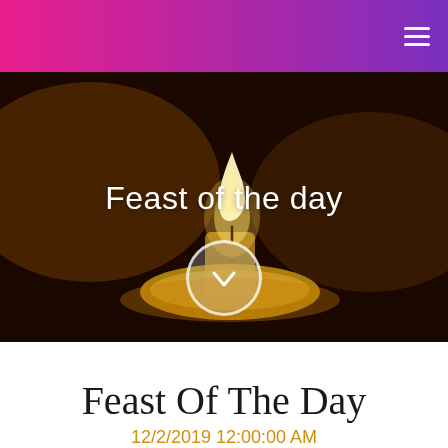☰
[Figure (photo): Close-up photo of a lit candle with warm amber and orange bokeh background, dark surroundings, with a down-chevron circle button overlay]
Feast of the day
Feast Of The Day
12/2/2019 12:00:00 AM